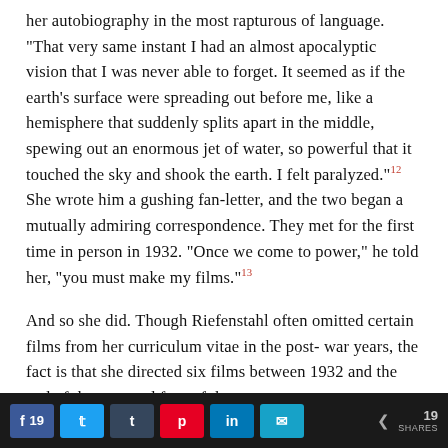her autobiography in the most rapturous of language. "That very same instant I had an almost apocalyptic vision that I was never able to forget. It seemed as if the earth's surface were spreading out before me, like a hemisphere that suddenly splits apart in the middle, spewing out an enormous jet of water, so powerful that it touched the sky and shook the earth. I felt paralyzed."12 She wrote him a gushing fan-letter, and the two began a mutually admiring correspondence. They met for the first time in person in 1932. "Once we come to power," he told her, "you must make my films."13
And so she did. Though Riefenstahl often omitted certain films from her curriculum vitae in the post-war years, the fact is that she directed six films between 1932 and the end of the war, and four of these
Share buttons: Facebook 19, Twitter, Tumblr, Pinterest, LinkedIn, Email | 19 SHARES